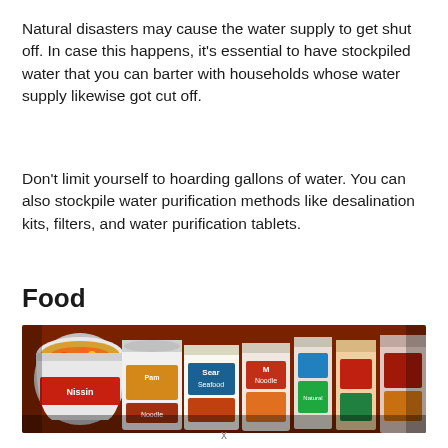Natural disasters may cause the water supply to get shut off. In case this happens, it’s essential to have stockpiled water that you can barter with households whose water supply likewise got cut off.
Don’t limit yourself to hoarding gallons of water. You can also stockpile water purification methods like desalination kits, filters, and water purification tablets.
Food
[Figure (photo): A wide horizontal photo showing rows of instant noodle cups and food cans packed tightly together, featuring brands such as Pam, Sear, and M, with colorful packaging in red, yellow, blue, and green.]
x